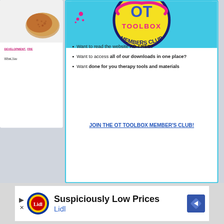[Figure (logo): OT Toolbox Members Club logo - circular yellow badge with blue OT letters, pink and yellow text on cyan background]
Want to read the website AD-FREE?
Want to access all of our downloads in one place?
Want done for you therapy tools and materials
JOIN THE OT TOOLBOX MEMBER'S CLUB!
DEVELOPMENT, FRE...
What You...
[Figure (infographic): Lidl advertisement banner - Suspiciously Low Prices, Lidl logo and navigation arrow]